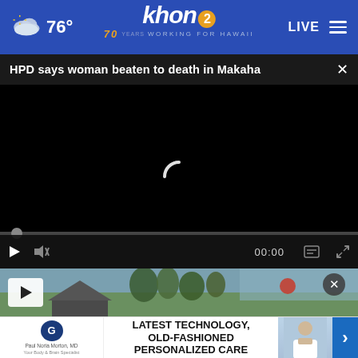76° khon2 WORKING FOR HAWAII LIVE
HPD says woman beaten to death in Makaha
[Figure (screenshot): Black video player with loading spinner, timeline scrubber, and playback controls showing 00:00 timestamp]
[Figure (screenshot): Thumbnail image strip with play button overlay and close button, showing outdoor scene with house and trees]
[Figure (screenshot): Advertisement banner: Paul Noria Morton MD - LATEST TECHNOLOGY, OLD-FASHIONED PERSONALIZED CARE with doctor photo and blue arrow]